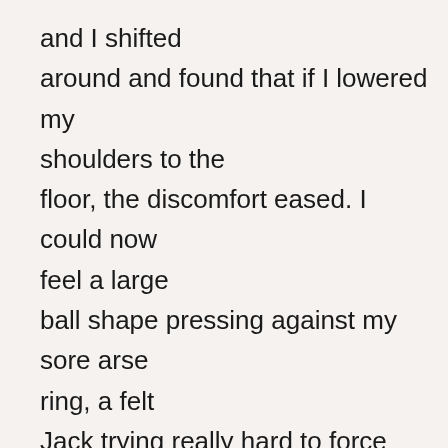and I shifted around and found that if I lowered my shoulders to the floor, the discomfort eased. I could now feel a large ball shape pressing against my sore arse ring, a felt Jack trying really hard to force this inside me. I knew of the ‘knot’ from wild life programs on TV, there was no way I was going to let that inside me!